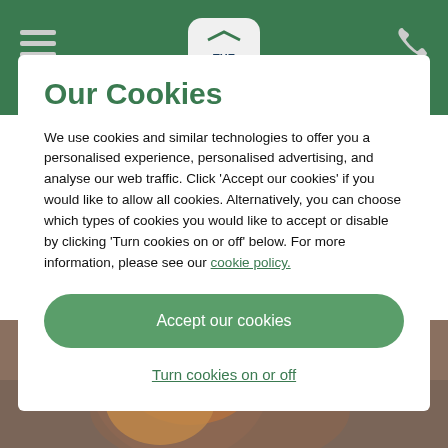[Figure (screenshot): Green navigation bar with hamburger menu icon on left, white rounded logo with 'THE' text in centre, and phone icon on right]
Our Cookies
We use cookies and similar technologies to offer you a personalised experience, personalised advertising, and analyse our web traffic. Click 'Accept our cookies' if you would like to allow all cookies. Alternatively, you can choose which types of cookies you would like to accept or disable by clicking 'Turn cookies on or off' below. For more information, please see our cookie policy.
Accept our cookies
Turn cookies on or off
[Figure (photo): Partial photo of a person with red/brown hair visible at the bottom of the page]